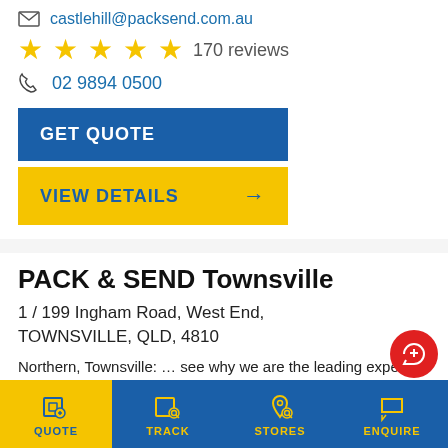castlehill@packsend.com.au
★★★★★ 170 reviews
02 9894 0500
GET QUOTE
VIEW DETAILS →
PACK & SEND Townsville
1 / 199 Ingham Road, West End, TOWNSVILLE, QLD, 4810
Northern, Townsville: … see why we are the leading experts in customised freight solutions. Contact our Townsville service centre in Townsville now … Great friendly service regarding packaging….and parcels were delivered swiftly
QUOTE   TRACK   STORES   ENQUIRE